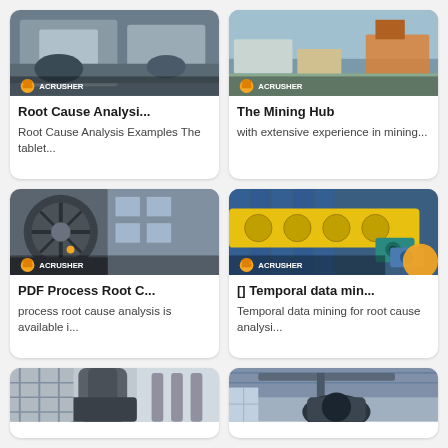[Figure (photo): Industrial mining machinery with Acrusher logo branding at bottom left]
Root Cause Analysi...
Root Cause Analysis Examples The tablet...
[Figure (photo): Mining facility with trucks and equipment with Acrusher logo]
The Mining Hub
with extensive experience in mining...
[Figure (photo): Large industrial wheel/crusher machine with Acrusher logo at bottom]
PDF Process Root C...
process root cause analysis is available i...
[Figure (photo): Yellow spiral/screw conveyor machine with Acrusher logo and orange circle]
[] Temporal data min...
Temporal data mining for root cause analysi...
[Figure (photo): Industrial mixing or grinding equipment in warehouse]
[Figure (photo): Industrial crane or lifting equipment in warehouse]